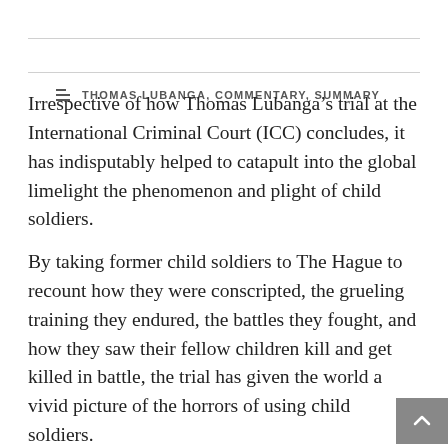THOMAS LUBANGA, COMMENTARY, SUMMARY
Irrespective of how Thomas Lubanga’s trial at the International Criminal Court (ICC) concludes, it has indisputably helped to catapult into the global limelight the phenomenon and plight of child soldiers.
By taking former child soldiers to The Hague to recount how they were conscripted, the grueling training they endured, the battles they fought, and how they saw their fellow children kill and get killed in battle, the trial has given the world a vivid picture of the horrors of using child soldiers.